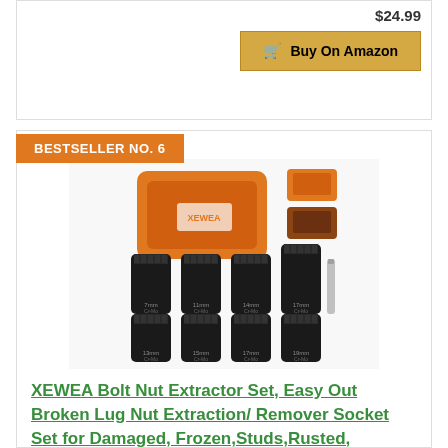$24.99
Buy On Amazon
BESTSELLER NO. 6
[Figure (photo): XEWEA Bolt Nut Extractor Set product photo showing orange carrying case, 8 black socket extractors of various sizes, and an extension bar]
XEWEA Bolt Nut Extractor Set, Easy Out Broken Lug Nut Extraction/ Remover Socket Set for Damaged, Frozen,Studs,Rusted, Rounded-Off Bolts&Nuts Screws, 8Pcs 1/2"